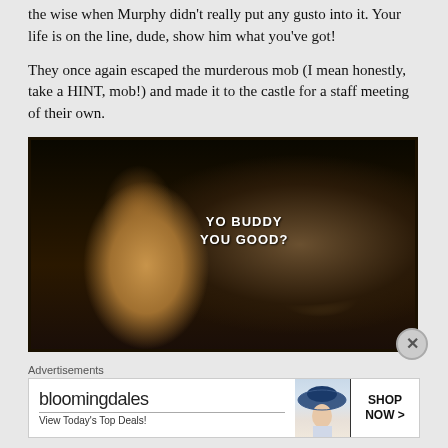the wise when Murphy didn't really put any gusto into it. Your life is on the line, dude, show him what you've got!
They once again escaped the murderous mob (I mean honestly, take a HINT, mob!) and made it to the castle for a staff meeting of their own.
[Figure (screenshot): Movie still showing a man with long dark hair looking alarmed, with subtitle text 'YO BUDDY YOU GOOD?' overlaid on the image]
Advertisements
[Figure (other): Bloomingdale's advertisement: 'bloomingdales View Today's Top Deals!' with model wearing hat and 'SHOP NOW >' button]